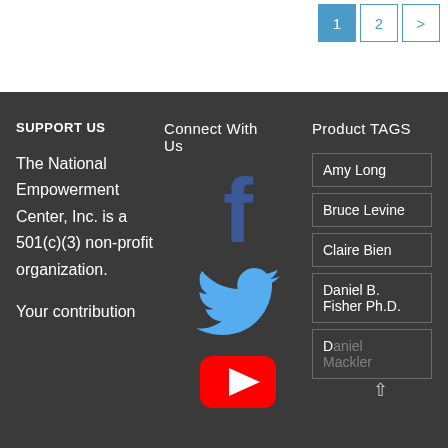1 2 >
SUPPORT US
Connect With Us
Product TAGS
The National Empowerment Center, Inc. is a 501(c)(3) non-profit organization.
Your contribution
[Figure (logo): Facebook logo icon in dark blue]
[Figure (logo): Twitter bird logo in light blue]
[Figure (logo): YouTube play button logo in red]
Amy Long
Bruce Levine
Claire Bien
Daniel B. Fisher Ph.D.
Daniel Mackler